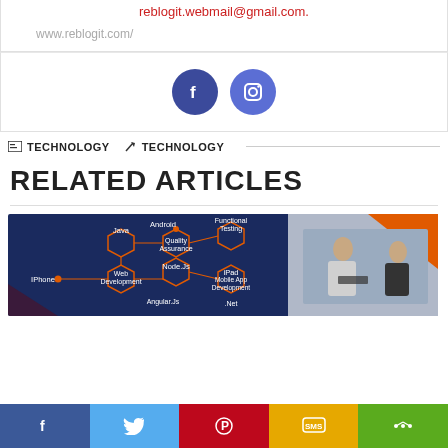reblogit.webmail@gmail.com.
www.reblogit.com/
[Figure (illustration): Social media icons: Facebook (dark blue circle with f) and Instagram (blue-purple circle with camera icon)]
TECHNOLOGY   TECHNOLOGY
RELATED ARTICLES
[Figure (infographic): Technology infographic showing connected hexagons labeled: Android, Functional Testing, Java, Quality Assurance, Node.Js, iPad, IPhone, Web Development, Mobile App Development, .Net, Angular.Js — alongside a photo of two businessmen looking at a phone]
[Figure (illustration): Share bar with Facebook, Twitter, Pinterest, SMS, and more icons]